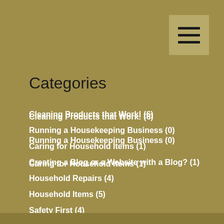Categories
Cleaning Products that Work! (6)
Running a Housekeeping Business (0)
Caring for Household Items (1)
Creating a Blog or a Website with a Blog? (1)
Household Repairs (4)
Household Items (5)
Safety First (4)
Cleaning Tips (8)
Decorating Tips (4)
All About Handmade Soap Products (1)